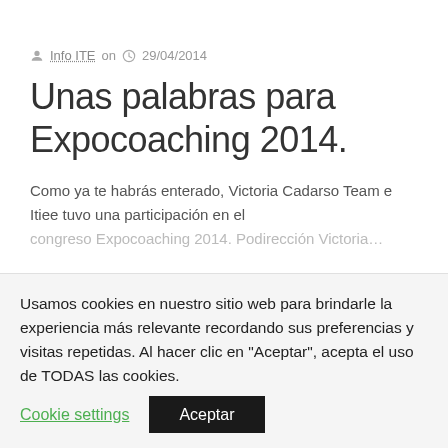Info ITE on 29/04/2014
Unas palabras para Expocoaching 2014.
Como ya te habrás enterado, Victoria Cadarso Team e Itiee tuvo una participación en el congreso Expocoaching 2014. Podían…Victoria…
Usamos cookies en nuestro sitio web para brindarle la experiencia más relevante recordando sus preferencias y visitas repetidas. Al hacer clic en "Aceptar", acepta el uso de TODAS las cookies.
Cookie settings
Aceptar